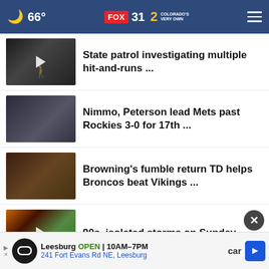66° FOX 31 2 COLORADO'S VERY OWN
State patrol investigating multiple hit-and-runs ...
Nimmo, Peterson lead Mets past Rockies 3-0 for 17th ...
Browning's fumble return TD helps Broncos beat Vikings ...
90s, isolated storms on Sunday
Man identified, arrested for shooting outside Greeley ...
[Figure (screenshot): Advertisement banner: Leesburg OPEN 10AM-7PM, 241 Fort Evans Rd NE, Leesburg with close button and car text]
car